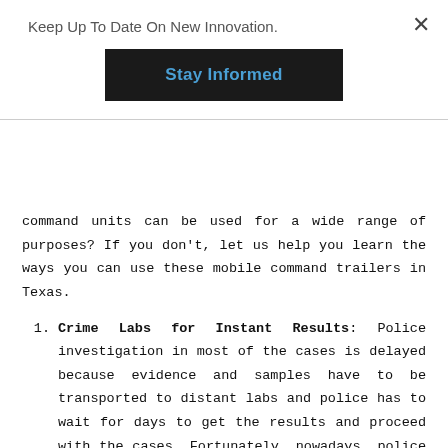Keep Up To Date On New Innovation.
Stay Informed
command units can be used for a wide range of purposes? If you don't, let us help you learn the ways you can use these mobile command trailers in Texas.
Crime Labs for Instant Results: Police investigation in most of the cases is delayed because evidence and samples have to be transported to distant labs and police has to wait for days to get the results and proceed with the cases. Fortunately, nowadays, police can speed up the investigation by setting up a crime lab inside mobile command units so that the lab can be brought to the nearest safe place and